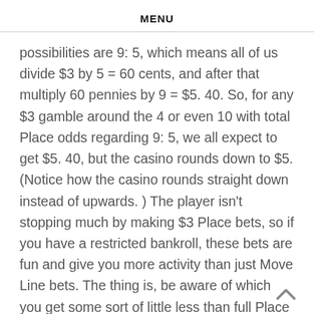MENU
possibilities are 9: 5, which means all of us divide $3 by 5 = 60 cents, and after that multiply 60 pennies by 9 = $5. 40. So, for any $3 gamble around the 4 or even 10 with total Place odds regarding 9: 5, we all expect to get $5. 40, but the casino rounds down to $5. (Notice how the casino rounds straight down instead of upwards. ) The player isn't stopping much by making $3 Place bets, so if you have a restricted bankroll, these bets are fun and give you more activity than just Move Line bets. The thing is, be aware of which you get some sort of little less than full Place probabilities and improve the property